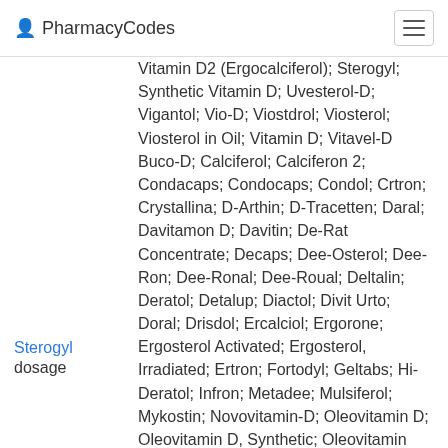PharmacyCodes
Vitamin D2 (Ergocalciferol); Sterogyl; Synthetic Vitamin D; Uvesterol-D; Vigantol; Vio-D; Viostdrol; Viosterol; Viosterol in Oil; Vitamin D; Vitavel-D Buco-D; Calciferol; Calciferon 2; Condacaps; Condocaps; Condol; Crtron; Crystallina; D-Arthin; D-Tracetten; Daral; Davitamon D; Davitin; De-Rat Concentrate; Decaps; Dee-Osterol; Dee-Ron; Dee-Ronal; Dee-Roual; Deltalin; Deratol; Detalup; Diactol; Divit Urto; Doral; Drisdol; Ercalciol; Ergorone; Ergosterol Activated; Ergosterol, Irradiated; Ertron; Fortodyl; Geltabs; Hi-Deratol; Infron; Metadee; Mulsiferol; Mykostin; Novovitamin-D; Oleovitamin D; Oleovitamin D, Synthetic; Oleovitamin D2; Ostelin; Radiostol; Radstein; Radsterin; Rodine C; Shock-Ferol; Shock-Ferol Vitamin D2 (Ergocalciferol); Vitamin D2 (Ergocalciferol); Synthetic
Sterogyl   dosage